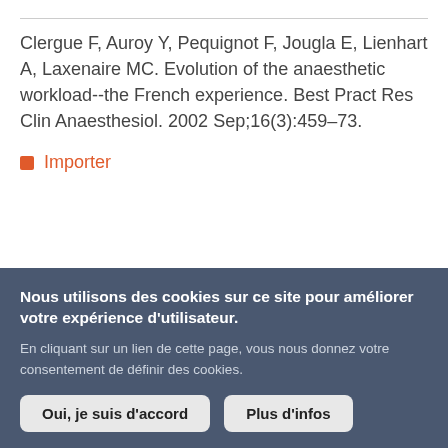Clergue F, Auroy Y, Pequignot F, Jougla E, Lienhart A, Laxenaire MC. Evolution of the anaesthetic workload--the French experience. Best Pract Res Clin Anaesthesiol. 2002 Sep;16(3):459–73.
Importer
Esoffey C, Auroy Y, Pequignot F, Jougla E,
Nous utilisons des cookies sur ce site pour améliorer votre expérience d'utilisateur.

En cliquant sur un lien de cette page, vous nous donnez votre consentement de définir des cookies.